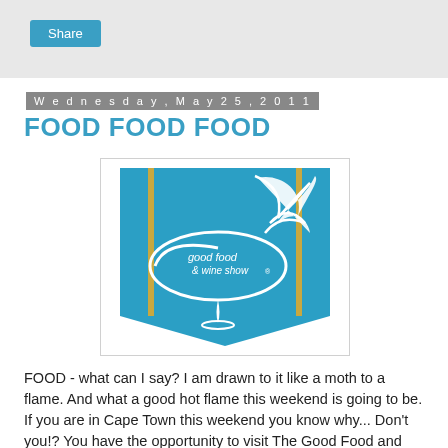Share
Wednesday, May 25, 2011
FOOD FOOD FOOD
[Figure (logo): Good Food & Wine Show logo — a teal/blue pennant-shaped banner with white decorative fish tail and oval ellipse containing the text 'good food & wine show' in white, with gold vertical stripe accents]
FOOD - what can I say? I am drawn to it like a moth to a flame. And what a good hot flame this weekend is going to be. If you are in Cape Town this weekend you know why... Don't you!? You have the opportunity to visit The Good Food and Wine Show. If you haven't already heard about it, it is this huge food event that has loads of cool food related stalls and events going on - the WHOLE weekend :)